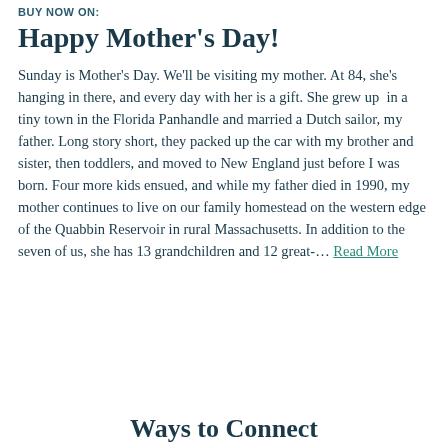BUY NOW ON:
Happy Mother's Day!
Sunday is Mother’s Day. We’ll be visiting my mother. At 84, she’s hanging in there, and every day with her is a gift. She grew up  in a tiny town in the Florida Panhandle and married a Dutch sailor, my father. Long story short, they packed up the car with my brother and sister, then toddlers, and moved to New England just before I was born. Four more kids ensued, and while my father died in 1990, my mother continues to live on our family homestead on the western edge of the Quabbin Reservoir in rural Massachusetts. In addition to the seven of us, she has 13 grandchildren and 12 great-… Read More
Ways to Connect